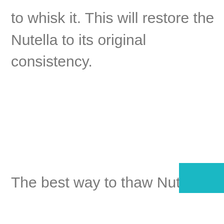to whisk it. This will restore the Nutella to its original consistency.
The best way to thaw Nutella is to pl…